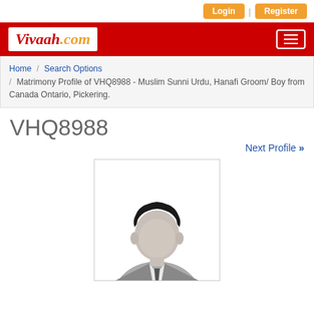Login | Register
[Figure (logo): Vivaah.com logo on red header bar with hamburger menu icon]
Home / Search Options / Matrimony Profile of VHQ8988 - Muslim Sunni Urdu, Hanafi Groom/ Boy from Canada Ontario, Pickering.
VHQ8988
Next Profile »
[Figure (photo): Generic male silhouette placeholder profile photo]